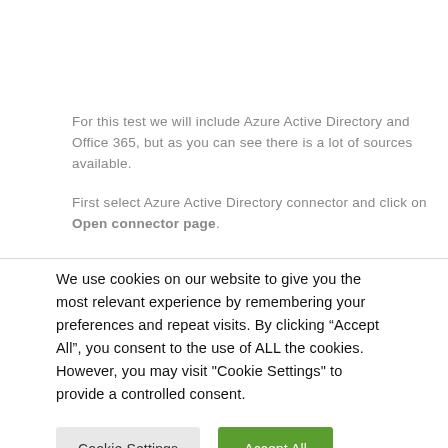For this test we will include Azure Active Directory and Office 365, but as you can see there is a lot of sources available.
First select Azure Active Directory connector and click on Open connector page.
We use cookies on our website to give you the most relevant experience by remembering your preferences and repeat visits. By clicking “Accept All”, you consent to the use of ALL the cookies. However, you may visit "Cookie Settings" to provide a controlled consent.